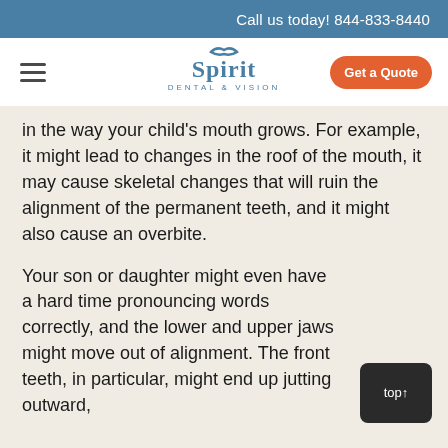Call us today! 844-833-8440
[Figure (logo): Spirit Dental & Vision logo with stylized bird above text]
in the way your child's mouth grows. For example, it might lead to changes in the roof of the mouth, it may cause skeletal changes that will ruin the alignment of the permanent teeth, and it might also cause an overbite.
Your son or daughter might even have a hard time pronouncing words correctly, and the lower and upper jaws might move out of alignment. The front teeth, in particular, might end up jutting outward,